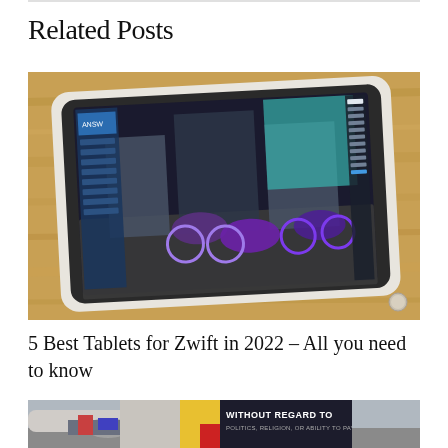Related Posts
[Figure (photo): Tablet displaying a cycling simulation game (Zwift) with a bicycle on screen, placed on a wooden surface]
5 Best Tablets for Zwift in 2022 – All you need to know
[Figure (photo): Partial view of an airplane with yellow and red tail, cargo being loaded, with an advertisement overlay reading WITHOUT REGARD TO POLITICS, RELIGION, OR ABILITY TO PAY]